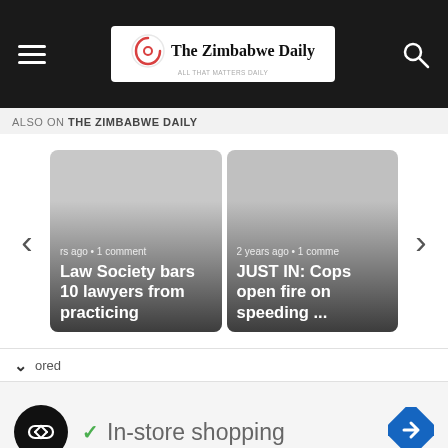The Zimbabwe Daily
ALSO ON THE ZIMBABWE DAILY
[Figure (screenshot): Article card: '...rs ago • 1 comment — Law Society bars 10 lawyers from practicing']
[Figure (screenshot): Article card: '2 years ago • 1 comme... — JUST IN: Cops open fire on speeding ...']
ored
[Figure (screenshot): Advertisement: In-store shopping, with a loop icon on dark circle, a green checkmark, and a blue navigation diamond icon]